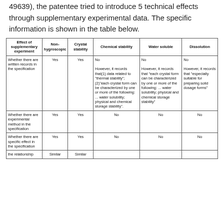49639), the patentee tried to introduce 5 technical effects through supplementary experimental data. The specific information is shown in the table below.
| Effect of supplementary experiment | Non-hygroscopic | Crystal stability | Chemical stability | Water soluble | Dissolution |
| --- | --- | --- | --- | --- | --- |
| Whether there are written records in the specification | Yes | Yes | No
However, it records that(1) data related to "thermal stability"; (2)"each crystal form can be characterized by one or more of the following: ... water solubility; physical and chemical storage stability". | No
However, it records that "each crystal form can be characterized by one or more of the following: ... water solubility; physical and chemical storage stability" | No
However, it records that "especially suitable for preparing solid dosage forms" |
| Whether there are experimental method in the specification | Yes | Yes | No | No | No |
| Whether there are specific effect in the specification | Yes | Yes | No | No | No |
| the relationship | Similar | Similar |  |  |  |